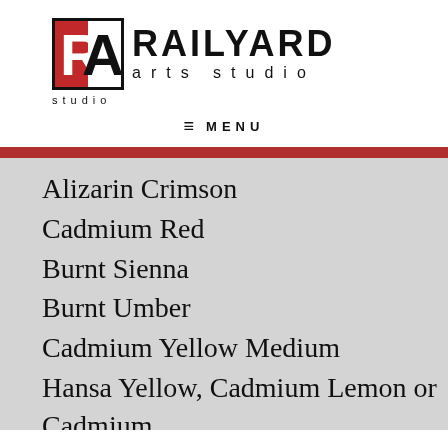[Figure (logo): Railyard Arts Studio logo with RA icon and text]
MENU
Alizarin Crimson
Cadmium Red
Burnt Sienna
Burnt Umber
Cadmium Yellow Medium
Hansa Yellow, Cadmium Lemon or Cadmium Yellow Light